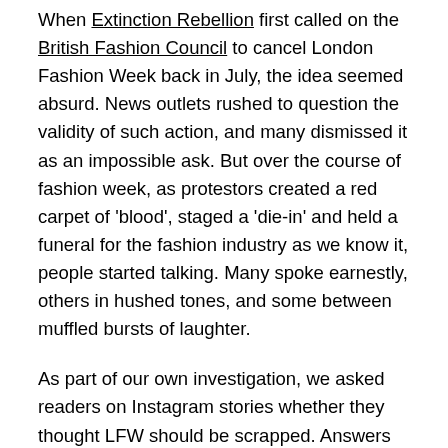When Extinction Rebellion first called on the British Fashion Council to cancel London Fashion Week back in July, the idea seemed absurd. News outlets rushed to question the validity of such action, and many dismissed it as an impossible ask. But over the course of fashion week, as protestors created a red carpet of 'blood', staged a 'die-in' and held a funeral for the fashion industry as we know it, people started talking. Many spoke earnestly, others in hushed tones, and some between muffled bursts of laughter.
As part of our own investigation, we asked readers on Instagram stories whether they thought LFW should be scrapped. Answers ranged from “No no no darling” to “YES!!!!”. Some suggested only allowing sustainable labels to show, while others argued that the responsibility shouldn’t fall on luxury brands as much as their fast fashion counterparts. The general divide was 50/50, with